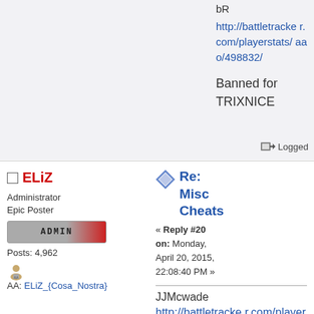bR
http://battletracker.com/playerstats/aao/498832/
Banned for TRIXNICE
Logged
ELiZ
Administrator
Epic Poster
ADMIN
Posts: 4,962
AA: ELiZ_{Cosa_Nostra}
Re: Misc Cheats
« Reply #20 on: Monday, April 20, 2015, 22:08:40 PM »
JJMcwade
http://battletracker.com/playerstats/